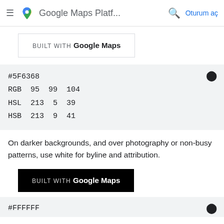Google Maps Platf...  Oturum aç
[Figure (logo): BUILT WITH Google Maps logo on white background]
#5F6368
RGB 95 99 104
HSL 213 5 39
HSB 213 9 41
On darker backgrounds, and over photography or non-busy patterns, use white for byline and attribution.
[Figure (logo): BUILT WITH Google Maps logo on black background]
#FFFFFF